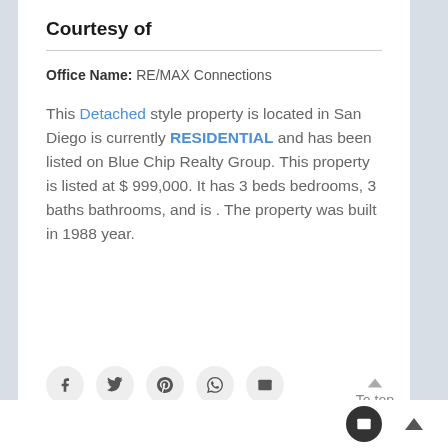Courtesy of
Office Name: RE/MAX Connections
This Detached style property is located in San Diego is currently RESIDENTIAL and has been listed on Blue Chip Realty Group. This property is listed at $ 999,000. It has 3 beds bedrooms, 3 baths bathrooms, and is . The property was built in 1988 year.